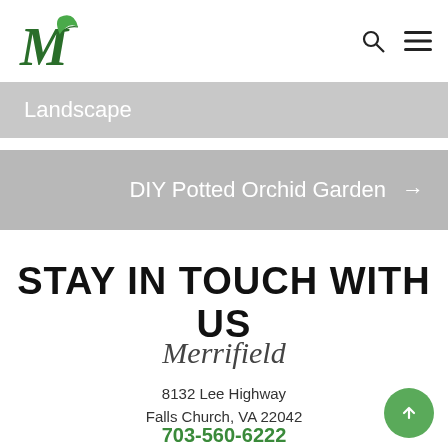Merrifield Garden Center — logo and navigation icons
Landscape
DIY Potted Orchid Garden →
STAY IN TOUCH WITH US
Merrifield
8132 Lee Highway
Falls Church, VA 22042
703-560-6222
Fair Oaks